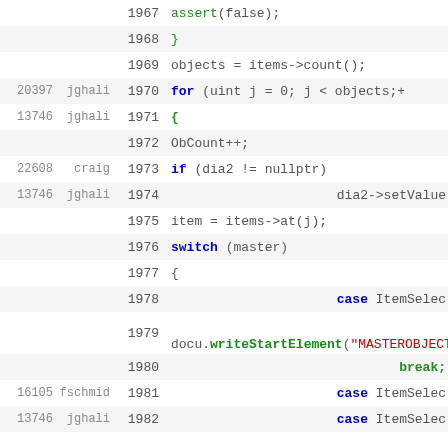| rev | author | line | code |
| --- | --- | --- | --- |
|  |  | 1967 | assert(false); |
|  |  | 1968 | } |
|  |  | 1969 | objects = items->count(); |
| 20397 | jghali | 1970 | for (uint j = 0; j < objects;+ |
| 13746 | jghali | 1971 | { |
|  |  | 1972 | ObCount++; |
| 22608 | craig | 1973 | if (dia2 != nullptr) |
| 13746 | jghali | 1974 | dia2->setValue |
|  |  | 1975 | item = items->at(j); |
|  |  | 1976 | switch (master) |
|  |  | 1977 | { |
|  |  | 1978 | case ItemSelec |
|  |  | 1979 | docu.writeStartElement("MASTEROBJECT") |
|  |  | 1980 | break; |
| 16105 | fschmid | 1981 | case ItemSelec |
| 13746 | jghali | 1982 | case ItemSelec |
|  |  | 1983 | docu.writeStartElement("PAGEOBJECT"); |
|  |  | 1984 | break; |
|  |  | 1985 | case ItemSelec |
|  |  | 1986 |  |